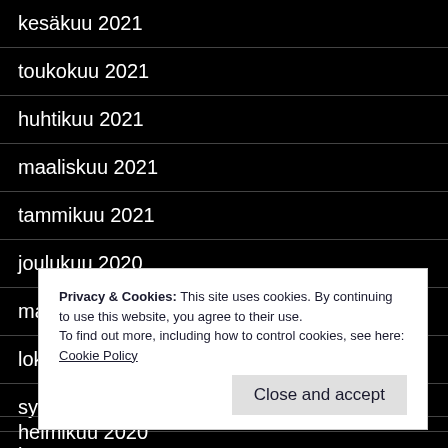kesäkuu 2021
toukokuu 2021
huhtikuu 2021
maaliskuu 2021
tammikuu 2021
joulukuu 2020
marraskuu 2020
lokakuu 2020
syyskuu 2020
k…
t…
h…
helmikuu 2020
Privacy & Cookies: This site uses cookies. By continuing to use this website, you agree to their use.
To find out more, including how to control cookies, see here: Cookie Policy
Close and accept